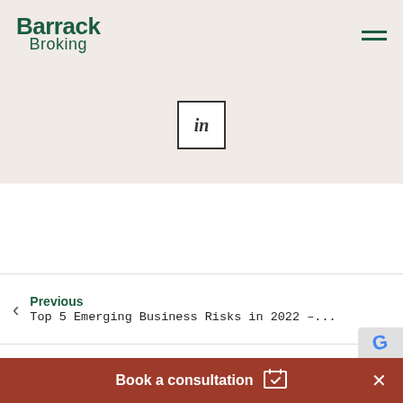[Figure (logo): Barrack Broking logo in dark green text with hamburger menu icon]
[Figure (illustration): LinkedIn icon in a square box on a beige/cream background]
Previous
Top 5 Emerging Business Risks in 2022 –...
Next
Reducing the Financial Burden of Supply...
Book a consultation